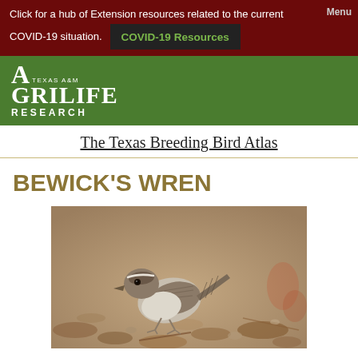Click for a hub of Extension resources related to the current COVID-19 situation. COVID-19 Resources Menu
[Figure (logo): Texas A&M AgriLife Research logo in white on green background]
The Texas Breeding Bird Atlas
BEWICK'S WREN
[Figure (photo): Photograph of a Bewick's Wren perched on the ground among leaf litter and debris]